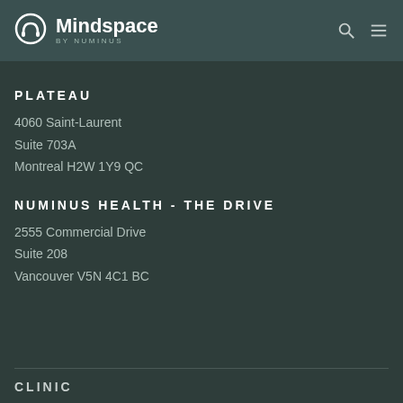[Figure (logo): Mindspace by Numinus logo with circular headphones icon and text]
PLATEAU
4060 Saint-Laurent
Suite 703A
Montreal H2W 1Y9 QC
NUMINUS HEALTH - THE DRIVE
2555 Commercial Drive
Suite 208
Vancouver V5N 4C1 BC